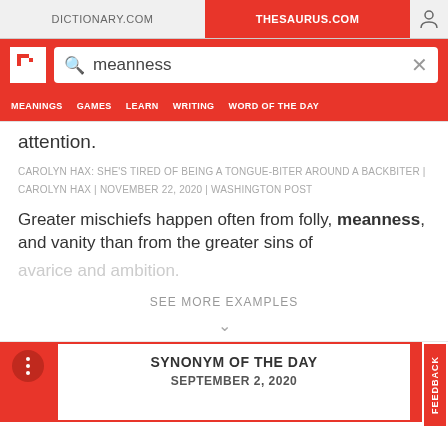DICTIONARY.COM | THESAURUS.COM
meanness (search query)
MEANINGS  GAMES  LEARN  WRITING  WORD OF THE DAY
attention.
CAROLYN HAX: SHE'S TIRED OF BEING A TONGUE-BITER AROUND A BACKBITER | CAROLYN HAX | NOVEMBER 22, 2020 | WASHINGTON POST
Greater mischiefs happen often from folly, meanness, and vanity than from the greater sins of avarice and ambition.
SEE MORE EXAMPLES
SYNONYM OF THE DAY
SEPTEMBER 2, 2020